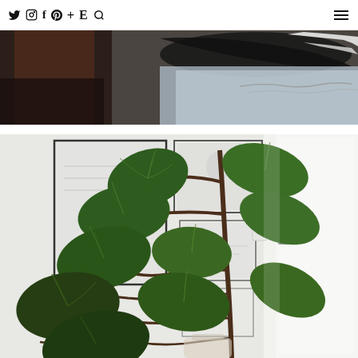Twitter Instagram Facebook Pinterest + E Search | Menu
[Figure (photo): Close-up photo of a dark wooden surface with black and white feathers and a silver chain/jewelry on a light blue fabric background]
[Figure (photo): Interior photo of a fiddle-leaf fig plant (Ficus lyrata) with large dark green leaves in front of a white wall with framed artwork gallery and a white door with a silver lever handle]